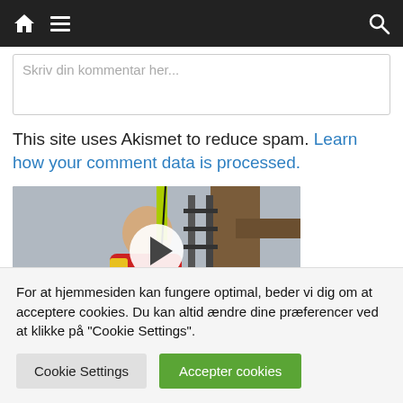Navigation bar with home, menu, and search icons
Skriv din kommentar her...
This site uses Akismet to reduce spam. Learn how your comment data is processed.
[Figure (photo): Man in red life jacket leaning against wooden post outdoors, with a video play button overlay]
For at hjemmesiden kan fungere optimal, beder vi dig om at acceptere cookies. Du kan altid ændre dine præferencer ved at klikke på "Cookie Settings".
Cookie Settings   Accepter cookies